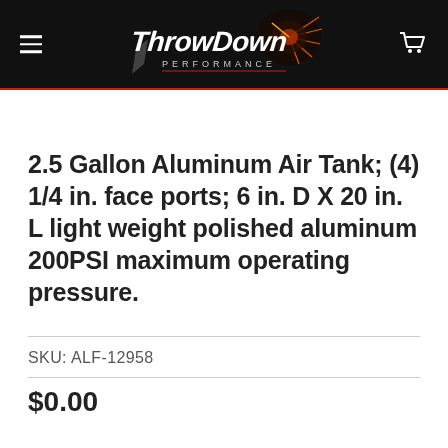[Figure (logo): ThrowDown Performance logo on black header background with speedometer graphic, hamburger menu icon on left, cart icon on right]
2.5 Gallon Aluminum Air Tank; (4) 1/4 in. face ports; 6 in. D X 20 in. L light weight polished aluminum 200PSI maximum operating pressure.
SKU: ALF-12958
$0.00